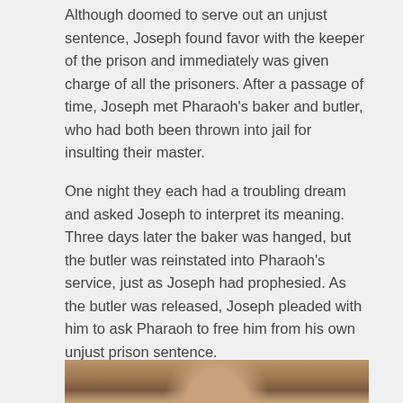Although doomed to serve out an unjust sentence, Joseph found favor with the keeper of the prison and immediately was given charge of all the prisoners. After a passage of time, Joseph met Pharaoh's baker and butler, who had both been thrown into jail for insulting their master.
One night they each had a troubling dream and asked Joseph to interpret its meaning. Three days later the baker was hanged, but the butler was reinstated into Pharaoh's service, just as Joseph had prophesied. As the butler was released, Joseph pleaded with him to ask Pharaoh to free him from his own unjust prison sentence.
[Figure (photo): A framed portrait painting showing a figure, partially visible, with warm brown and earthy tones suggesting a classical painting style.]